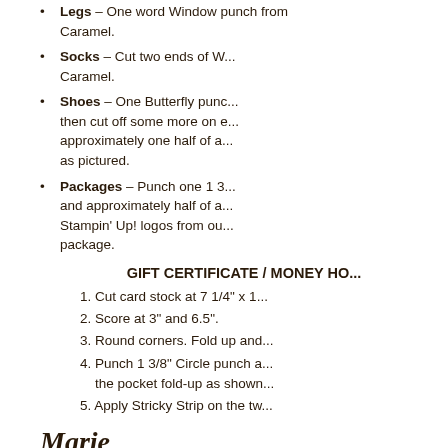Legs – One word Window punch from Caramel.
Socks – Cut two ends of W... Caramel.
Shoes – One Butterfly punch then cut off some more on e... approximately one half of a... as pictured.
Packages – Punch one 1 3... and approximately half of a... Stampin' Up! logos from ou... package.
GIFT CERTIFICATE / MONEY HO...
Cut card stock at 7 1/4" x 1...
Score at 3" and 6.5".
Round corners. Fold up and...
Punch 1 3/8" Circle punch a... the pocket fold-up as shown...
Apply Stricky Strip on the tw...
Marie